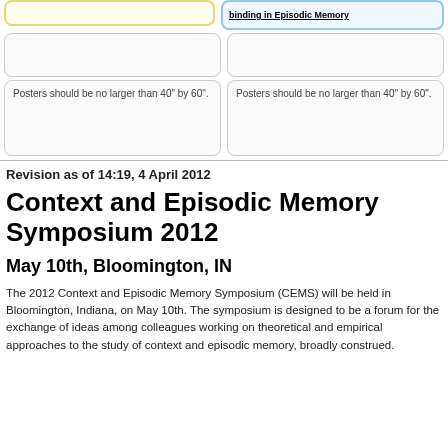[Figure (screenshot): Top row with two card boxes: left is yellow-bordered empty card, right is blue-bordered card with underlined bold text 'binding in Episodic Memory']
Posters should be no larger than 40" by 60".
Posters should be no larger than 40" by 60".
Revision as of 14:19, 4 April 2012
Context and Episodic Memory Symposium 2012
May 10th, Bloomington, IN
The 2012 Context and Episodic Memory Symposium (CEMS) will be held in Bloomington, Indiana, on May 10th. The symposium is designed to be a forum for the exchange of ideas among colleagues working on theoretical and empirical approaches to the study of context and episodic memory, broadly construed.